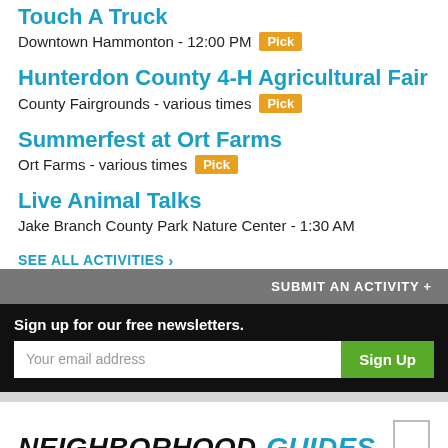Touch A Truck
Downtown Hammonton - 12:00 PM  Pick
Hunterdon County 4-H Agricultural Fair
County Fairgrounds - various times  Pick
Summerfest at Ort Farms
Ort Farms - various times  Pick
Live Animal Talks
Jake Branch County Park Nature Center - 1:30 AM
SEE ALL ACTIVITIES >
SUBMIT AN ACTIVITY +
Sign up for our free newsletters.
Your email address  Sign Up
NEIGHBORHOOD GUIDES